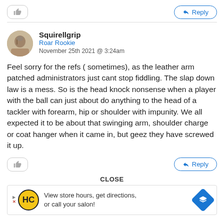[Figure (screenshot): Social media comment section screenshot showing a user comment from Squirellgrip, a Roar Rookie, dated November 25th 2021 at 3:24am, with like and reply buttons, a close label, and an advertisement bar at the bottom.]
Squirellgrip
Roar Rookie
November 25th 2021 @ 3:24am
Feel sorry for the refs ( sometimes), as the leather arm patched administrators just cant stop fiddling. The slap down law is a mess. So is the head knock nonsense when a player with the ball can just about do anything to the head of a tackler with forearm, hip or shoulder with impunity. We all expected it to be about that swinging arm, shoulder charge or coat hanger when it came in, but geez they have screwed it up.
CLOSE
[Figure (infographic): Advertisement bar with HC logo and text: View store hours, get directions, or call your salon! with a blue navigation arrow icon.]